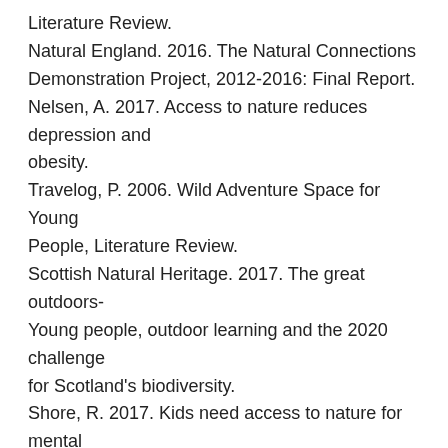Literature Review.
Natural England. 2016. The Natural Connections Demonstration Project, 2012-2016: Final Report.
Nelsen, A. 2017. Access to nature reduces depression and obesity.
Travelog, P. 2006. Wild Adventure Space for Young People, Literature Review.
Scottish Natural Heritage. 2017. The great outdoors- Young people, outdoor learning and the 2020 challenge for Scotland's biodiversity.
Shore, R. 2017. Kids need access to nature for mental health.
Yoo, S. 2017. Nature & health: Spending more time in nature can boost body and mind. Oregon Metro.